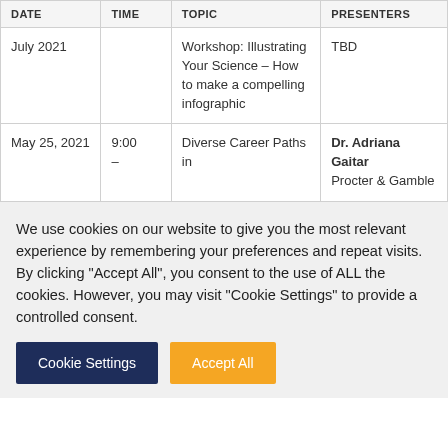| DATE | TIME | TOPIC | PRESENTERS |
| --- | --- | --- | --- |
| July 2021 |  | Workshop: Illustrating Your Science – How to make a compelling infographic | TBD |
| May 25, 2021 | 9:00 – | Diverse Career Paths in | Dr. Adriana Gaitan
Procter & Gamble |
We use cookies on our website to give you the most relevant experience by remembering your preferences and repeat visits. By clicking "Accept All", you consent to the use of ALL the cookies. However, you may visit "Cookie Settings" to provide a controlled consent.